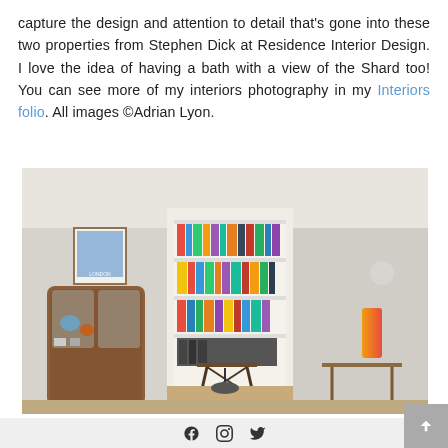capture the design and attention to detail that's gone into these two properties from Stephen Dick at Residence Interior Design. I love the idea of having a bath with a view of the Shard too! You can see more of my interiors photography in my Interiors folio. All images ©Adrian Lyon.
[Figure (photo): Interior photograph showing a study/living room with a wooden arched display cabinet on the left, a built-in white bookshelf filled with colorful books and items in the center background, a desk with a chair, and a small side table with an orange lamp on the right. The walls appear to be light grey brick.]
All images and content ©Adrian Lyon 2018-2022. All Rights Reserved. Please do not use any images from this website for any purpose without prior written consent.